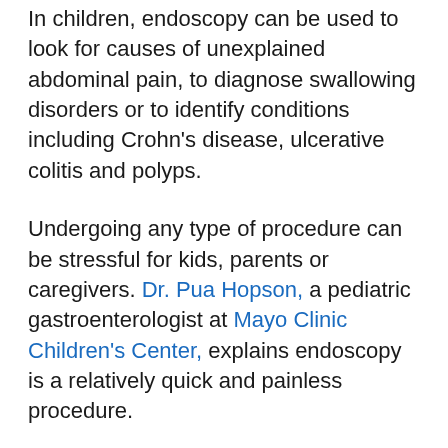In children, endoscopy can be used to look for causes of unexplained abdominal pain, to diagnose swallowing disorders or to identify conditions including Crohn's disease, ulcerative colitis and polyps.
Undergoing any type of procedure can be stressful for kids, parents or caregivers. Dr. Pua Hopson, a pediatric gastroenterologist at Mayo Clinic Children's Center, explains endoscopy is a relatively quick and painless procedure.
"An upper endoscopy typically takes 10 minutes, while colonoscopy may take 30 minutes," says Dr. Hopson. "I tell the kids it takes longer to put them to sleep with anesthesia or sedation than the actual procedure. And once you wake up, your